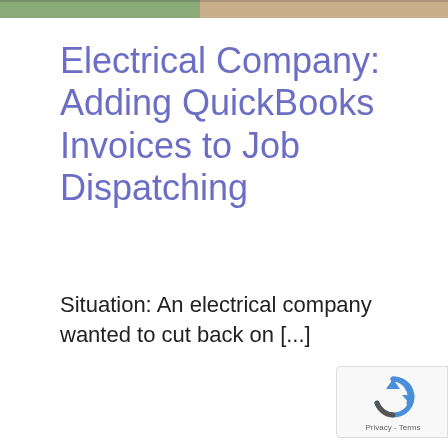[Figure (photo): Cropped top strip of a photo showing two people, partially visible at the top of the page]
Electrical Company: Adding QuickBooks Invoices to Job Dispatching
Situation: An electrical company wanted to cut back on [...]
[Figure (logo): reCAPTCHA badge with circular arrow icon and 'Privacy - Terms' text]